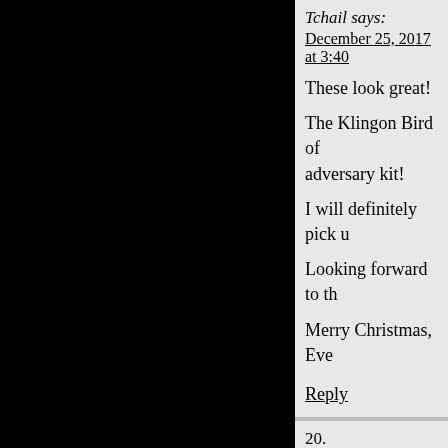Tchail says:
December 25, 2017 at 3:40
These look great!
The Klingon Bird of adversary kit!
I will definitely pick u
Looking forward to th
Merry Christmas, Eve
Reply
20.
Frank says:
December 25, 2017 at 5:50 pm
Hi Jaime, well I hope it's a
Any plans for kits from Th